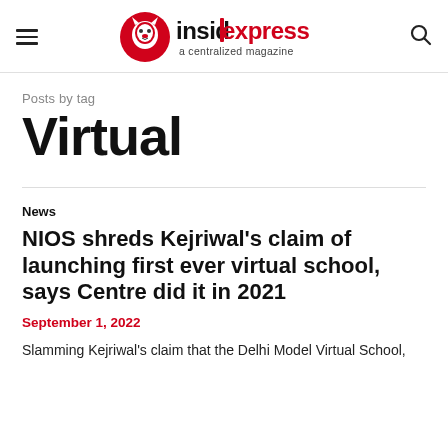insidexpress — a centralized magazine
Posts by tag
Virtual
News
NIOS shreds Kejriwal's claim of launching first ever virtual school, says Centre did it in 2021
September 1, 2022
Slamming Kejriwal's claim that the Delhi Model Virtual School,